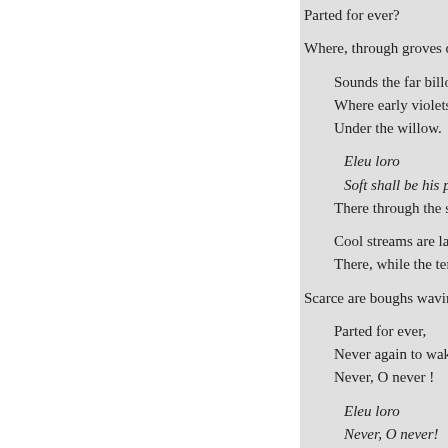Parted for ever?

Where, through groves deep and

    Sounds the far billow,
    Where early violets die
    Under the willow.

        Eleu loro
        Soft shall be his pillow.
    There through the summer d

    Cool streams are laving :
    There, while the tempests sw

Scarce are boughs waving ; Ther

    Parted for ever,
    Never again to wake
    Never, O never !

        Eleu loro
        Never, O never!
    Where shall the traitor rest,

    He, the deceiver,